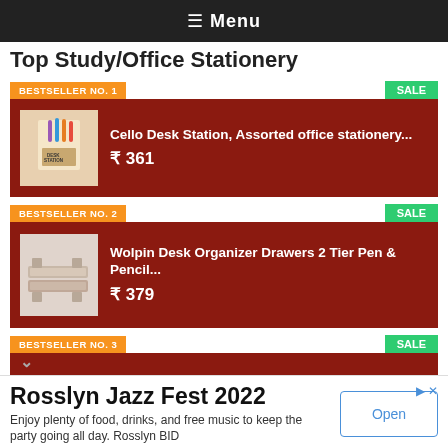≡ Menu
Top Study/Office Stationery
BESTSELLER NO. 1
SALE
Cello Desk Station, Assorted office stationery...
₹ 361
BESTSELLER NO. 2
SALE
Wolpin Desk Organizer Drawers 2 Tier Pen & Pencil...
₹ 379
BESTSELLER NO. 3
SALE
Rosslyn Jazz Fest 2022
Enjoy plenty of food, drinks, and free music to keep the party going all day. Rosslyn BID